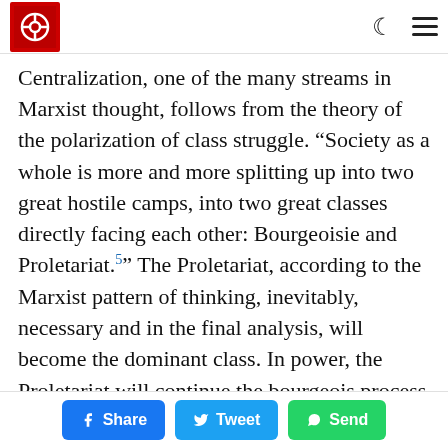STAFF [logo] [moon icon] [hamburger menu]
Centralization, one of the many streams in Marxist thought, follows from the theory of the polarization of class struggle. “Society as a whole is more and more splitting up into two great hostile camps, into two great classes directly facing each other: Bourgeoisie and Proletariat.5” The Proletariat, according to the Marxist pattern of thinking, inevitably, necessary and in the final analysis, will become the dominant class. In power, the Proletariat will continue the bourgeois process of centralization and production, reversing it to its own benefit. “The proletariat will use its political supremacy
Share  Tweet  Send